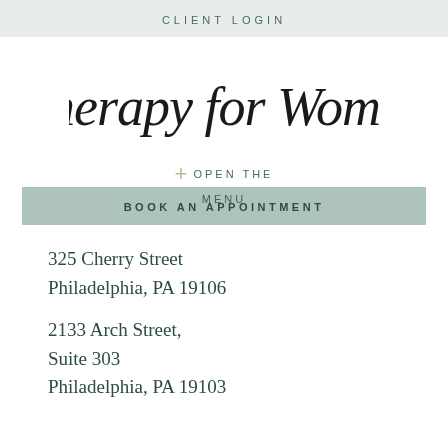CLIENT LOGIN
[Figure (logo): Therapy for Women script logo in black handwritten/brush lettering]
+ OPEN THE MENU
BOOK AN APPOINTMENT
325 Cherry Street
Philadelphia, PA 19106
2133 Arch Street,
Suite 303
Philadelphia, PA 19103